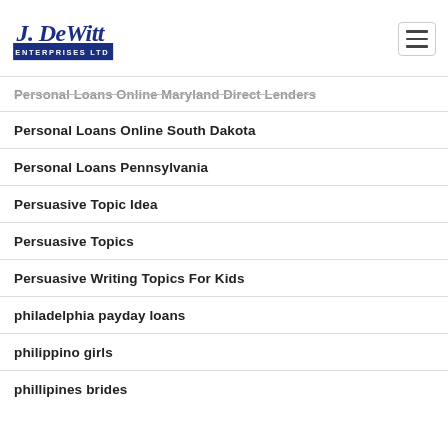J. DeWitt Enterprises Ltd
Personal Loans Online Maryland Direct Lenders
Personal Loans Online South Dakota
Personal Loans Pennsylvania
Persuasive Topic Idea
Persuasive Topics
Persuasive Writing Topics For Kids
philadelphia payday loans
philippino girls
phillipines brides